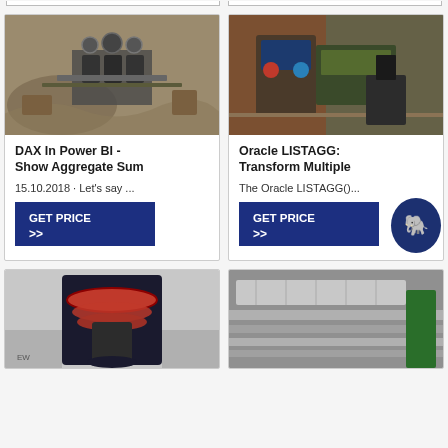[Figure (photo): Aerial view of quarry with mining equipment]
DAX In Power BI - Show Aggregate Sum
15.10.2018 · Let's say ...
GET PRICE >>
[Figure (photo): Industrial crusher machine in factory setting]
Oracle LISTAGG: Transform Multiple
The Oracle LISTAGG()...
GET PRICE >>
[Figure (photo): Large cone crusher machine in industrial facility]
[Figure (photo): Conveyor belt system in warehouse]